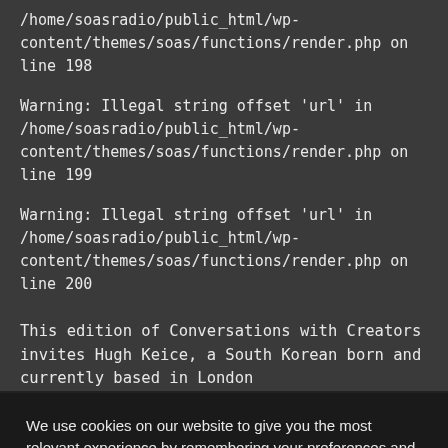/home/soasradio/public_html/wp-content/themes/soas/functions/render.php on line 198
Warning: Illegal string offset 'url' in /home/soasradio/public_html/wp-content/themes/soas/functions/render.php on line 199
Warning: Illegal string offset 'url' in /home/soasradio/public_html/wp-content/themes/soas/functions/render.php on line 200
This edition of Conversations with Creators invites Hugh Keice, a South Korean born and currently based in London...
We use cookies on our website to give you the most relevant experience by remembering your preferences and repeat visits. By clicking “Accept All”, you consent to the use of ALL the cookies. However, you may visit "Cookie Settings" to provide a controlled consent.
Cookie Settings
Accept All